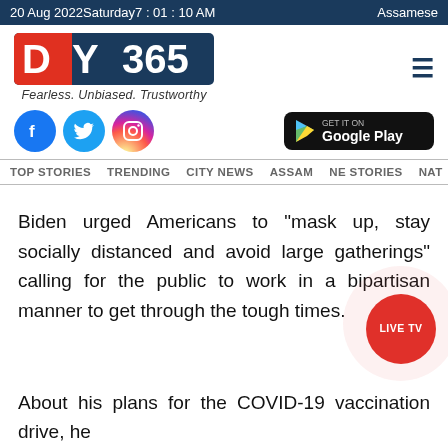20 Aug 2022Saturday7 : 01 : 10 AM   Assamese
[Figure (logo): DY365 logo with red and blue design and tagline Fearless. Unbiased. Trustworthy]
[Figure (infographic): Social media icons (Facebook, Twitter, Instagram) and Google Play store button]
TOP STORIES   TRENDING   CITY NEWS   ASSAM   NE STORIES   NAT
Biden urged Americans to "mask up, stay socially distanced and avoid large gatherings" calling for the public to work in a bipartisan manner to get through the tough times.
About his plans for the COVID-19 vaccination drive, he